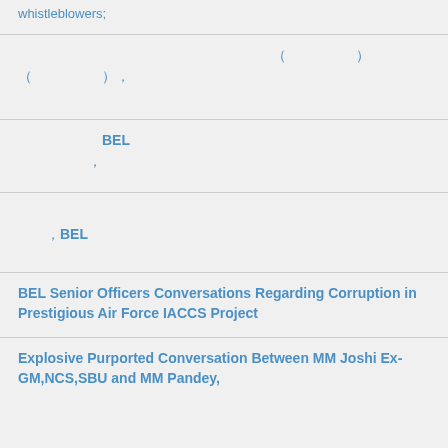whistleblowers;
( )  ( ),
BEL ,
, BEL
BEL Senior Officers Conversations Regarding Corruption in Prestigious Air Force IACCS Project
Explosive Purported Conversation Between MM Joshi Ex-GM,NCS,SBU and MM Pandey,